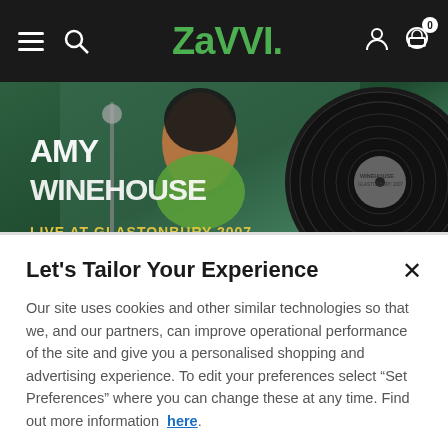ZAVVI
[Figure (photo): Amy Winehouse Live at Glastonbury 2007 album cover showing Amy Winehouse with microphone on green background, alongside a vinyl record]
Let's Tailor Your Experience
Our site uses cookies and other similar technologies so that we, and our partners, can improve operational performance of the site and give you a personalised shopping and advertising experience. To edit your preferences select “Set Preferences” where you can change these at any time. Find out more information here.